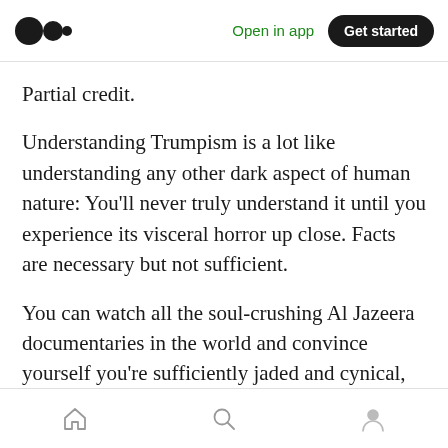Open in app | Get started
Partial credit.
Understanding Trumpism is a lot like understanding any other dark aspect of human nature: You’ll never truly understand it until you experience its visceral horror up close. Facts are necessary but not sufficient.
You can watch all the soul-crushing Al Jazeera documentaries in the world and convince yourself you’re sufficiently jaded and cynical, but until you’ve experienced it yourself, you’re
Home | Search | Profile